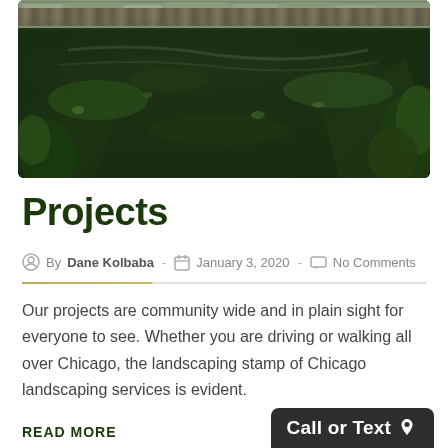[Figure (photo): Landscape photo of a pond or water feature surrounded by lush green vegetation, ferns, and a stone or rocky edge along the top. Dark water reflects the greenery.]
Projects
By Dane Kolbaba  -  January 3, 2020  -  No Comments
Our projects are community wide and in plain sight for everyone to see. Whether you are driving or walking all over Chicago, the landscaping stamp of Chicago landscaping services is evident.
READ MORE